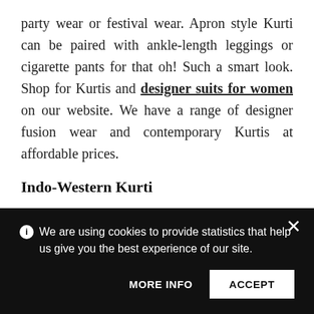party wear or festival wear. Apron style Kurti can be paired with ankle-length leggings or cigarette pants for that oh! Such a smart look. Shop for Kurtis and designer suits for women on our website. We have a range of designer fusion wear and contemporary Kurtis at affordable prices.
Indo-Western Kurti
If you do not want to go entirely ethnic nor western, then choose something that combines both. Indo-western Kurti flaunts the best features of Indian
We are using cookies to provide statistics that help us give you the best experience of our site.